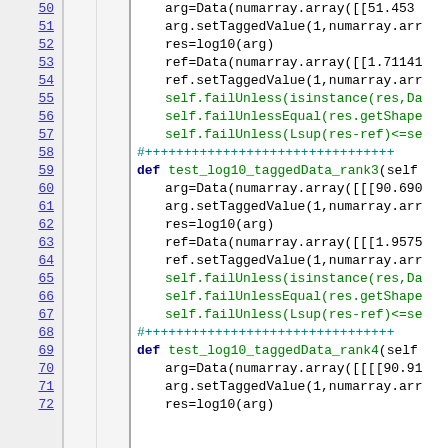[Figure (screenshot): Source code viewer showing Python test code with line numbers 50-72. Lines show test methods test_log10_taggedData_rank3 and test_log10_taggedData_rank4 with Data/numarray operations.]